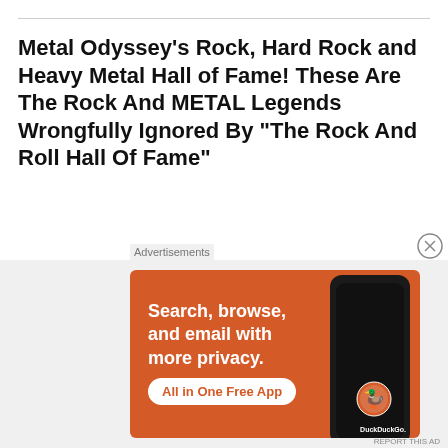Metal Odyssey's Rock, Hard Rock and Heavy Metal Hall of Fame! These Are The Rock And METAL Legends Wrongfully Ignored By "The Rock And Roll Hall Of Fame"
ANTHRAX
Bachman-Turner Overdrive
BAD COMPANY
BOSTON
BOZ SCAGGS
CARMINE APPICE
[Figure (other): DuckDuckGo advertisement banner: orange background with text 'Search, browse, and email with more privacy. All in One Free App' and a phone image with DuckDuckGo logo.]